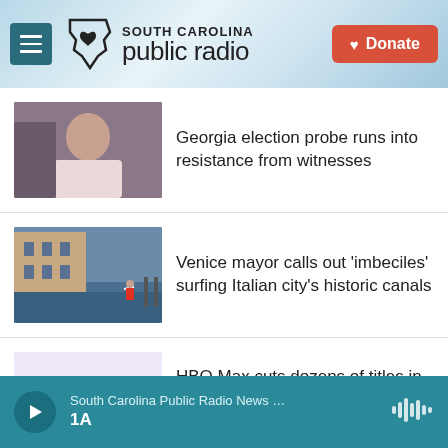[Figure (screenshot): South Carolina Public Radio website header with menu button, logo, and Donate button]
Georgia election probe runs into resistance from witnesses
Venice mayor calls out 'imbeciles' surfing Italian city's historic canals
HBO Max cuts dozens of titles in a cost-cutting move before a merger with Discovery+
South Carolina Public Radio News … 1A